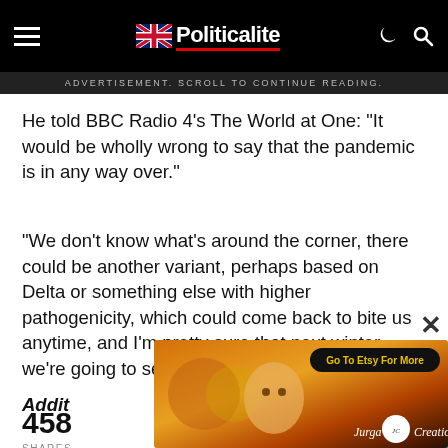Politicalite
ADVERTISEMENT. SCROLL TO CONTINUE READING.
He told BBC Radio 4's The World at One: “It would be wholly wrong to say that the pandemic is in any way over.”
“We don’t know what’s around the corner, there could be another variant, perhaps based on Delta or something else with higher pathogenicity, which could come back to bite us anytime, and I’m pretty sure that next winter we’re going to see it back.”
Additionally
458 SHARES